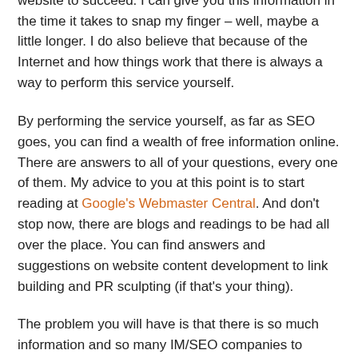rules, tools, good things, bad things that it takes for a website to succeed. I can give you this information in the time it takes to snap my finger – well, maybe a little longer. I do also believe that because of the Internet and how things work that there is always a way to perform this service yourself.
By performing the service yourself, as far as SEO goes, you can find a wealth of free information online. There are answers to all of your questions, every one of them. My advice to you at this point is to start reading at Google's Webmaster Central. And don't stop now, there are blogs and readings to be had all over the place. You can find answers and suggestions on website content development to link building and PR sculpting (if that's your thing).
The problem you will have is that there is so much information and so many IM/SEO companies to choose from how will you know what's good, bad, or simply ugly (as in stupid waste of time!). Well, do some research first then you will probably see that finding a good adviser (consultant, analyst, engineer – whatever) will